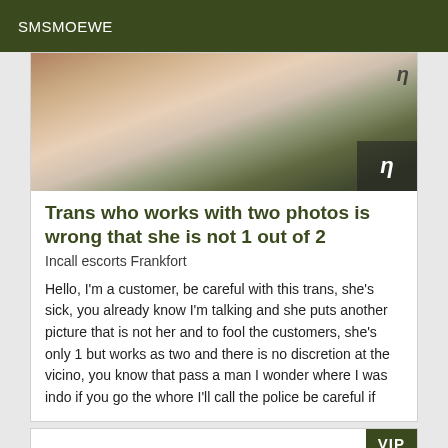SMSMOEWE
[Figure (photo): Cropped photo showing skin tones and partial background with overlay text]
Trans who works with two photos is wrong that she is not 1 out of 2
Incall escorts Frankfort
Hello, I'm a customer, be careful with this trans, she's sick, you already know I'm talking and she puts another picture that is not her and to fool the customers, she's only 1 but works as two and there is no discretion at the vicino, you know that pass a man I wonder where I was indo if you go the whore I'll call the police be careful if